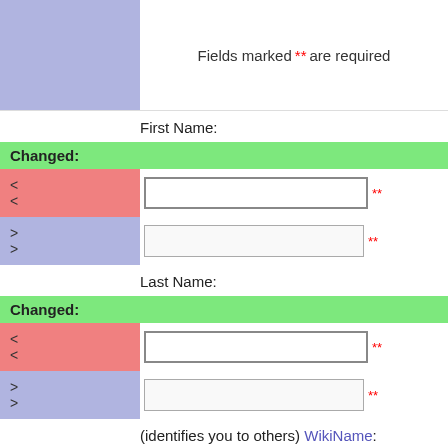Fields marked ** are required
First Name:
Changed:
< <
> >
Last Name:
Changed:
< <
> >
(identifies you to others) WikiName:
Changed: